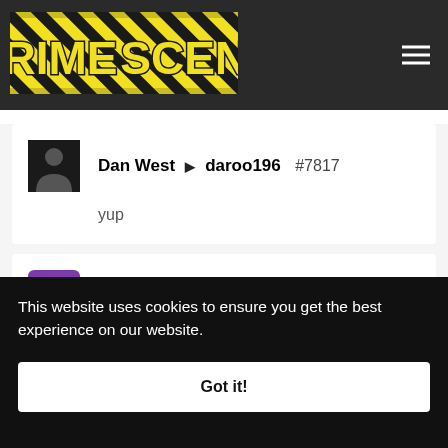[Figure (logo): Crime Scene logo on yellow/black hazard stripe background with hamburger menu icon]
Dan West ▶ daroo196  #7817
yup
daroo196  #4624
This website uses cookies to ensure you get the best experience on our website.
Got it!